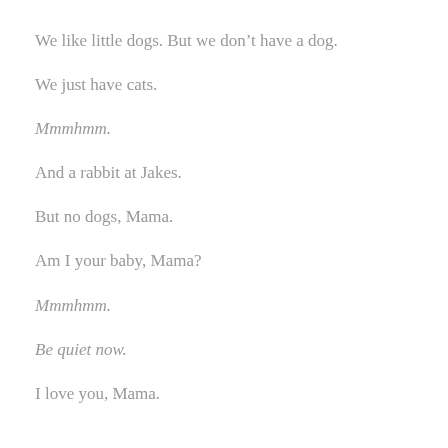We like little dogs. But we don’t have a dog.
We just have cats.
Mmmhmm.
And a rabbit at Jakes.
But no dogs, Mama.
Am I your baby, Mama?
Mmmhmm.
Be quiet now.
I love you, Mama.